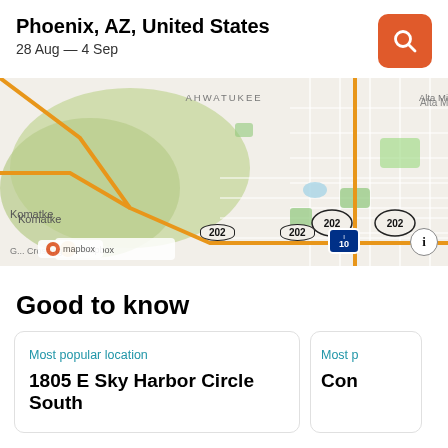Phoenix, AZ, United States
28 Aug — 4 Sep
[Figure (map): Mapbox map showing Phoenix AZ area including Ahwatukee, Alta Mi, Komatke, route 202 (two markers), I-10 interstate, and Gateway Crossing. Orange highway lines on beige/green map.]
Good to know
Most popular location
1805 E Sky Harbor Circle South
Most p
Con